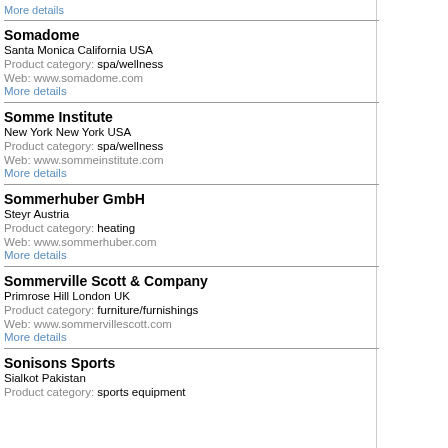More details
Somadome
Santa Monica California USA
Product category: spa/wellness
Web: www.somadome.com
More details
Somme Institute
New York New York USA
Product category: spa/wellness
Web: www.sommeinstitute.com
More details
Sommerhuber GmbH
Steyr Austria
Product category: heating
Web: www.sommerhuber.com
More details
Sommerville Scott & Company
Primrose Hill London UK
Product category: furniture/furnishings
Web: www.sommervillescott.com
More details
Sonisons Sports
Sialkot Pakistan
Product category: sports equipment